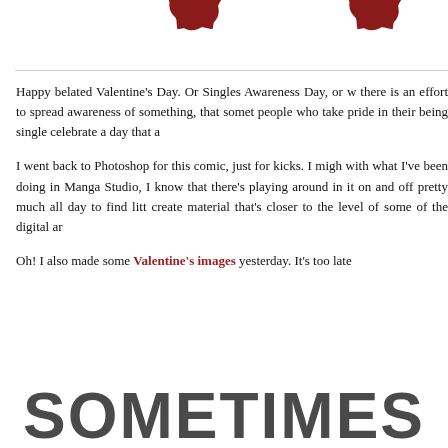[Figure (illustration): Two dark red decorative floral/pinwheel icons at the top of the page]
Happy belated Valentine's Day. Or Singles Awareness Day, or w there is an effort to spread awareness of something, that somet people who take pride in their being single celebrate a day that a
I went back to Photoshop for this comic, just for kicks. I migh with what I've been doing in Manga Studio, I know that there's playing around in it on and off pretty much all day to find litt create material that's closer to the level of some of the digital ar
Oh! I also made some Valentine's images yesterday. It's too late
SOMETIMES